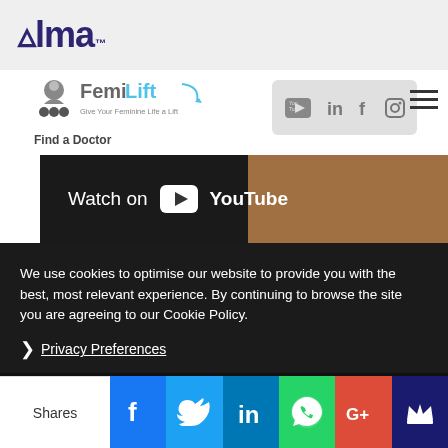Alma
[Figure (logo): FemiLift logo with person icon and tagline 'Give Your Feminine Life a Lift']
[Figure (infographic): Social media icons bar: YouTube, LinkedIn, Facebook, Instagram]
Find a Doctor
[Figure (screenshot): YouTube video banner showing 'Watch on YouTube' overlay]
We use cookies to optimise our website to provide you with the best, most relevant experience. By continuing to browse the site you are agreeing to our Cookie Policy.
Privacy Preferences
Shares | Facebook | Twitter | LinkedIn | WhatsApp | Google+ | Crown